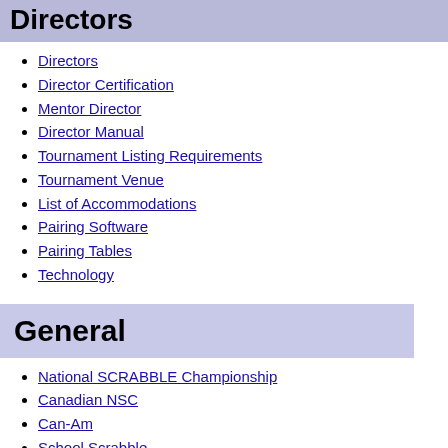Directors
Directors
Director Certification
Mentor Director
Director Manual
Tournament Listing Requirements
Tournament Venue
List of Accommodations
Pairing Software
Pairing Tables
Technology
General
National SCRABBLE Championship
Canadian NSC
Can-Am
School Scrabble
National School SCRABBLE Championship
World SCRABBLE Championship